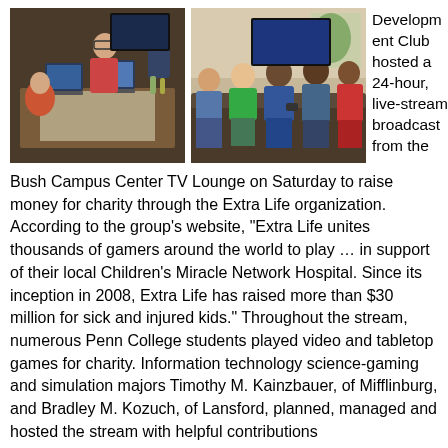[Figure (photo): Students sitting around a table with laptops in a lounge setting, engaged in a gaming or broadcasting activity.]
[Figure (photo): Group of students and people sitting on couches and chairs in a lounge, playing video games or watching a screen.]
Development Club hosted a 24-hour, live-stream broadcast from the Bush Campus Center TV Lounge on Saturday to raise money for charity through the Extra Life organization. According to the group’s website, “Extra Life unites thousands of gamers around the world to play … in support of their local Children’s Miracle Network Hospital. Since its inception in 2008, Extra Life has raised more than $30 million for sick and injured kids.” Throughout the stream, numerous Penn College students played video and tabletop games for charity. Information technology science-gaming and simulation majors Timothy M. Kainzbauer, of Mifflinburg, and Bradley M. Kozuch, of Lansford, planned, managed and hosted the stream with helpful contributions